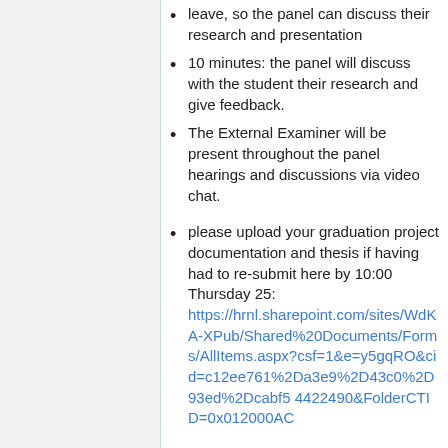leave, so the panel can discuss their research and presentation
10 minutes: the panel will discuss with the student their research and give feedback.
The External Examiner will be present throughout the panel hearings and discussions via video chat.
please upload your graduation project documentation and thesis if having had to re-submit here by 10:00 Thursday 25: https://hrnl.sharepoint.com/sites/WdKA-XPub/Shared%20Documents/Forms/AllItems.aspx?csf=1&e=y5gqRO&cid=c12ee761%2Da3e9%2D43c0%2D93ed%2Dcabf54422490&FolderCTID=0x012000AC